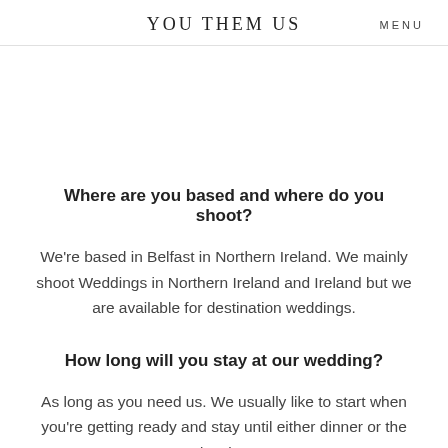YOU THEM US    MENU
Where are you based and where do you shoot?
We're based in Belfast in Northern Ireland. We mainly shoot Weddings in Northern Ireland and Ireland but we are available for destination weddings.
How long will you stay at our wedding?
As long as you need us. We usually like to start when you're getting ready and stay until either dinner or the dancing.